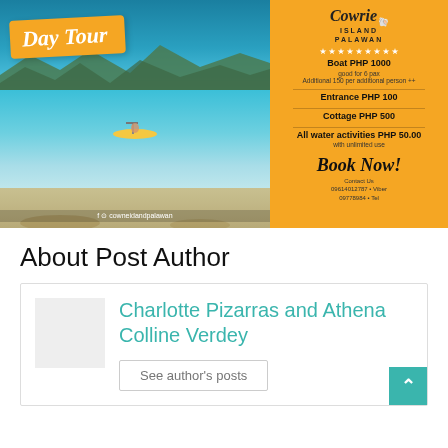[Figure (photo): Cowrie Island Palawan Day Tour advertisement. Left side shows a photo of a tropical beach with turquoise water, mountains in background, a yellow kayak in the water, and sandy shore. Text overlay reads 'Day Tour'. Right side is an orange panel with Cowrie Island Palawan logo, star rating, pricing: Boat PHP 1000 good for 6 pax, Additional 150 per additional person, Entrance PHP 100, Cottage PHP 500, All water activities PHP 50.00 with unlimited use, Book Now!, Contact Us info.]
About Post Author
Charlotte Pizarras and Athena Colline Verdey
See author's posts